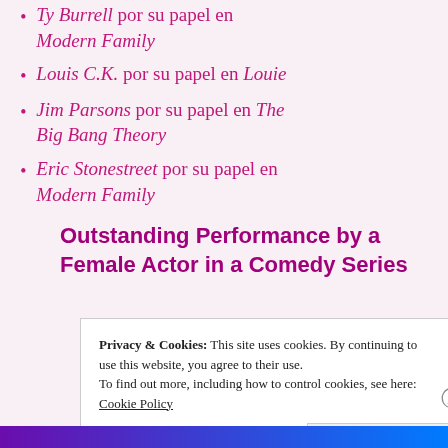Ty Burrell por su papel en Modern Family
Louis C.K. por su papel en Louie
Jim Parsons por su papel en The Big Bang Theory
Eric Stonestreet por su papel en Modern Family
Outstanding Performance by a Female Actor in a Comedy Series
Privacy & Cookies: This site uses cookies. By continuing to use this website, you agree to their use. To find out more, including how to control cookies, see here: Cookie Policy
Close and accept